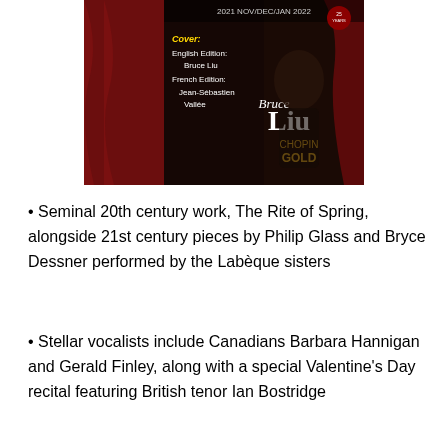[Figure (photo): Magazine cover for 2021 Nov/Dec/Jan 2022 issue featuring Bruce Liu - Chopin Gold. Shows a young Asian man in dark clothing. Cover text lists: Cover: English Edition: Bruce Liu, French Edition: Jean-Sébastien Vallée. Dark red curtain background.]
Seminal 20th century work, The Rite of Spring, alongside 21st century pieces by Philip Glass and Bryce Dessner performed by the Labèque sisters
Stellar vocalists include Canadians Barbara Hannigan and Gerald Finley, along with a special Valentine's Day recital featuring British tenor Ian Bostridge